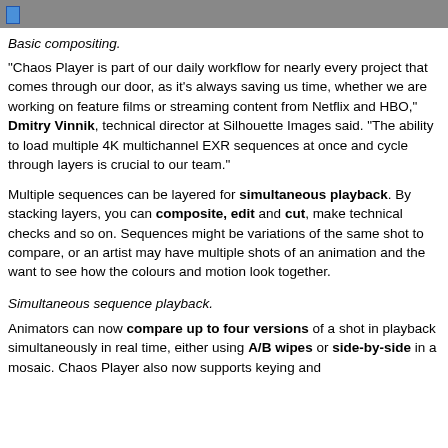Basic compositing.
"Chaos Player is part of our daily workflow for nearly every project that comes through our door, as it's always saving us time, whether we are working on feature films or streaming content from Netflix and HBO," Dmitry Vinnik, technical director at Silhouette Images said. "The ability to load multiple 4K multichannel EXR sequences at once and cycle through layers is crucial to our team."
Multiple sequences can be layered for simultaneous playback. By stacking layers, you can composite, edit and cut, make technical checks and so on. Sequences might be variations of the same shot to compare, or an artist may have multiple shots of an animation and the want to see how the colours and motion look together.
Simultaneous sequence playback.
Animators can now compare up to four versions of a shot in playback simultaneously in real time, either using A/B wipes or side-by-side in a mosaic. Chaos Player also now supports keying and